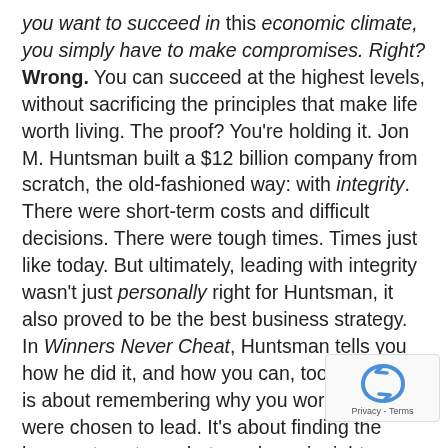you want to succeed in this economic climate, you simply have to make compromises. Right? Wrong. You can succeed at the highest levels, without sacrificing the principles that make life worth living. The proof? You're holding it. Jon M. Huntsman built a $12 billion company from scratch, the old-fashioned way: with integrity. There were short-term costs and difficult decisions. There were tough times. Times just like today. But ultimately, leading with integrity wasn't just personally right for Huntsman, it also proved to be the best business strategy. In Winners Never Cheat, Huntsman tells you how he did it, and how you can, too. This book is about remembering why you work, and why were chosen to lead. It's about finding the bravery to act on what you know is right, no
[Figure (other): reCAPTCHA widget overlay with blue arrow-circle icon and 'Privacy - Terms' text]